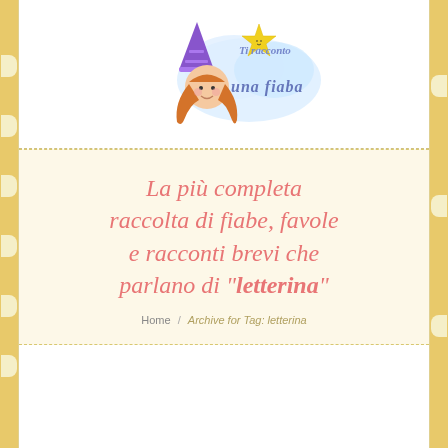[Figure (logo): Ti racconto una fiaba website logo — cartoon girl with star wizard hat and long hair, with decorative cloud background and handwritten-style text]
La più completa raccolta di fiabe, favole e racconti brevi che parlano di "letterina"
Home / Archive for Tag: letterina